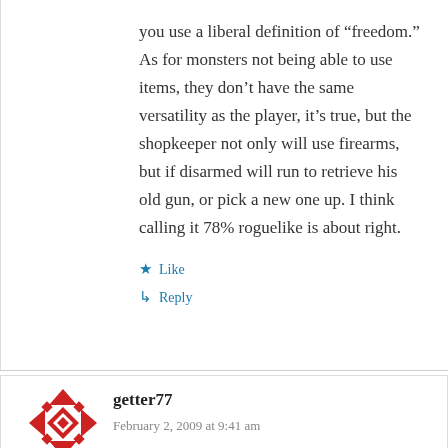you use a liberal definition of “freedom.” As for monsters not being able to use items, they don’t have the same versatility as the player, it’s true, but the shopkeeper not only will use firearms, but if disarmed will run to retrieve his old gun, or pick a new one up. I think calling it 78% roguelike is about right.
★ Like
↵ Reply
[Figure (logo): User avatar for getter77 — red geometric star/diamond pattern icon]
getter77
February 2, 2009 at 9:41 am
So by a few articles his intent seems to result in it...